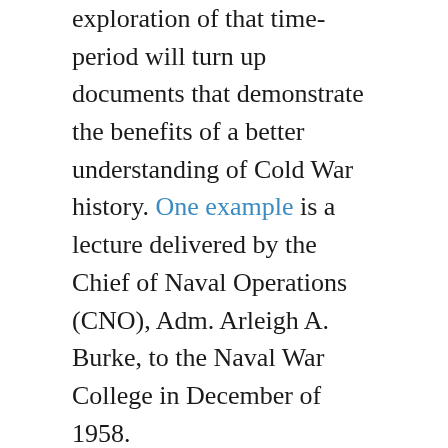exploration of that time-period will turn up documents that demonstrate the benefits of a better understanding of Cold War history. One example is a lecture delivered by the Chief of Naval Operations (CNO), Adm. Arleigh A. Burke, to the Naval War College in December of 1958.
The themes touched on by Admiral Burke's address “The U.S. Navy’s Role in General War and Conflict Short of General War” still resonate today. The geopolitical situation it describes eerily resembles our present era. In fact, it’s not a stretch to say that with a few minor revisions the CNO could deliver the same address today. And